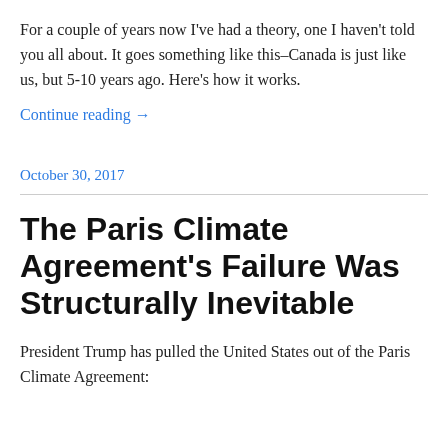For a couple of years now I’ve had a theory, one I haven’t told you all about. It goes something like this–Canada is just like us, but 5-10 years ago. Here’s how it works.
Continue reading →
October 30, 2017
The Paris Climate Agreement’s Failure Was Structurally Inevitable
President Trump has pulled the United States out of the Paris Climate Agreement: